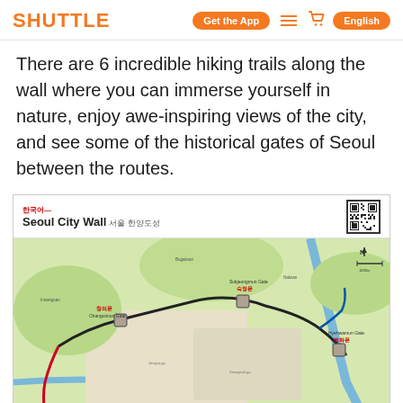SHUTTLE | Get the App | [menu] | [cart] | English
There are 6 incredible hiking trails along the wall where you can immerse yourself in nature, enjoy awe-inspiring views of the city, and see some of the historical gates of Seoul between the routes.
[Figure (map): Seoul City Wall (서울 한양도성) hiking trail map showing the wall route around Seoul, with labeled gates, trails, and Korean/English annotations. A QR code appears in the upper right corner of the map card.]